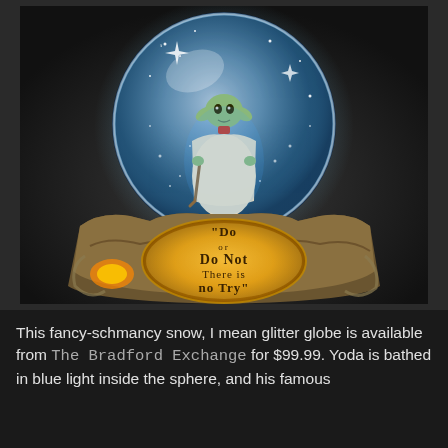[Figure (photo): A Yoda snow globe (glitter globe) collectible. Yoda figurine stands inside a clear glass sphere filled with glitter/snow, bathed in blue light. The ornate rocky base has an illuminated golden oval panel displaying the quote: "Do or Do Not There is No Try". The base has warm orange lighting glowing from inside.]
This fancy-schmancy snow, I mean glitter globe is available from The Bradford Exchange for $99.99. Yoda is bathed in blue light inside the sphere, and his famous